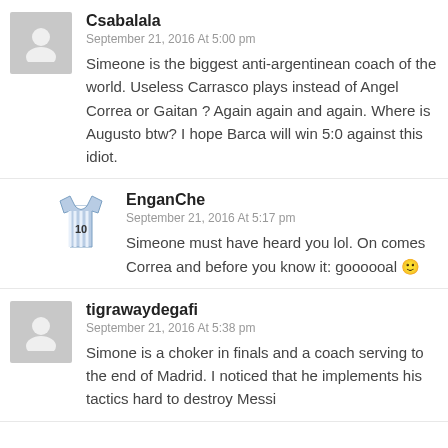Csabalala
September 21, 2016 At 5:00 pm
Simeone is the biggest anti-argentinean coach of the world. Useless Carrasco plays instead of Angel Correa or Gaitan ? Again again and again. Where is Augusto btw? I hope Barca will win 5:0 against this idiot.
EnganChe
September 21, 2016 At 5:17 pm
Simeone must have heard you lol. On comes Correa and before you know it: goooooal 🙂
tigrawaydegafi
September 21, 2016 At 5:38 pm
Simone is a choker in finals and a coach serving to the end of Madrid. I noticed that he implements his tactics hard to destroy Messi